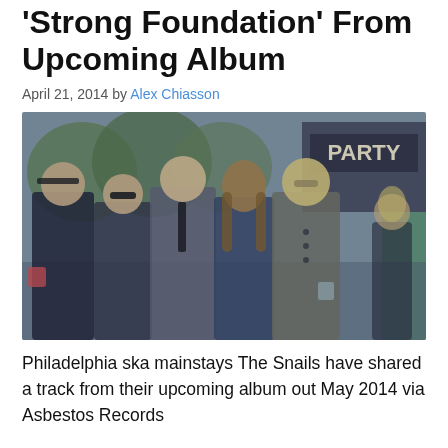'Strong Foundation' From Upcoming Album
April 21, 2014 by Alex Chiasson
[Figure (photo): Group photo of five young men dressed in formal/semi-formal attire standing together outdoors at what appears to be a party venue, with trees and a sign reading 'PARTY' in the background.]
Philadelphia ska mainstays The Snails have shared a track from their upcoming album out May 2014 via Asbestos Records